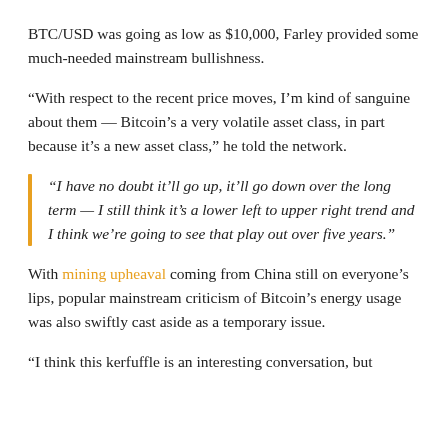BTC/USD was going as low as $10,000, Farley provided some much-needed mainstream bullishness.
“With respect to the recent price moves, I’m kind of sanguine about them — Bitcoin’s a very volatile asset class, in part because it’s a new asset class,” he told the network.
“I have no doubt it’ll go up, it’ll go down over the long term — I still think it’s a lower left to upper right trend and I think we’re going to see that play out over five years.”
With mining upheaval coming from China still on everyone’s lips, popular mainstream criticism of Bitcoin’s energy usage was also swiftly cast aside as a temporary issue.
“I think this kerfuffle is an interesting conversation, but